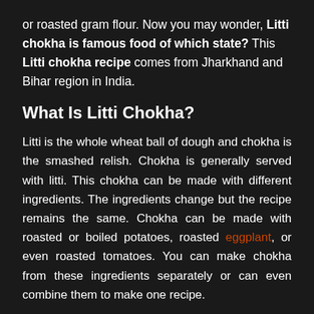or roasted gram flour. Now you may wonder, Litti chokha is famous food of which state? This Litti chokha recipe comes from Jharkhand and Bihar region in India.
What Is Litti Chokha?
Litti is the whole wheat ball of dough and chokha is the smashed relish. Chokha is generally served with litti. This chokha can be made with different ingredients. The ingredients change but the recipe remains the same. Chokha can be made with roasted or boiled potatoes, roasted eggplant, or even roasted tomatoes. You can make chokha from these ingredients separately or can even combine them to make one recipe.
How to eat litti chokha?